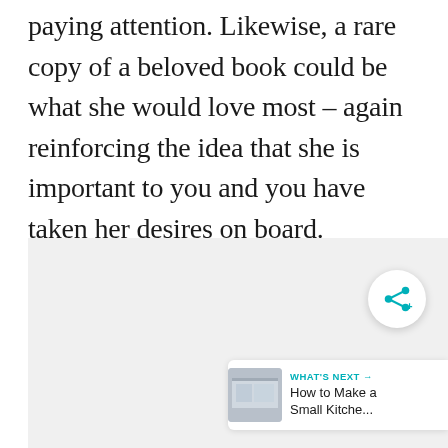paying attention. Likewise, a rare copy of a beloved book could be what she would love most – again reinforcing the idea that she is important to you and you have taken her desires on board.
[Figure (other): Gray content placeholder box with a circular share button (teal share icon) in the lower right, and a 'What's Next' navigation card showing a thumbnail image and text 'How to Make a Small Kitche...']